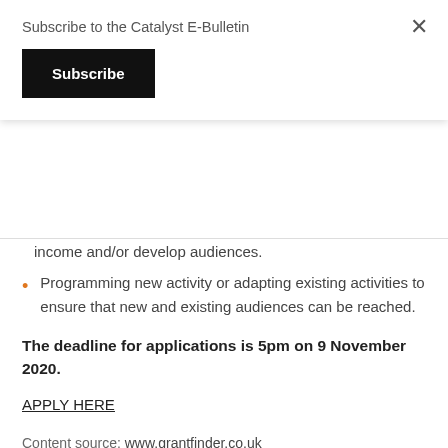Subscribe to the Catalyst E-Bulletin
Subscribe
×
income and/or develop audiences.
Programming new activity or adapting existing activities to ensure that new and existing audiences can be reached.
The deadline for applications is 5pm on 9 November 2020.
APPLY HERE
Content source: www.grantfinder.co.uk